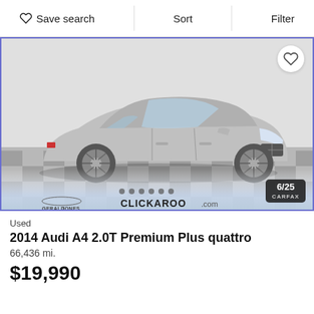Save search | Sort | Filter
[Figure (photo): Silver 2014 Audi A4 sedan photographed in a dealer showroom with checkered floor. Overlaid with Gerald Jones and Clickaroo.com dealer logos, photo counter badge showing 6/25, and CARFAX logo.]
Used
2014 Audi A4 2.0T Premium Plus quattro
66,436 mi.
$19,990